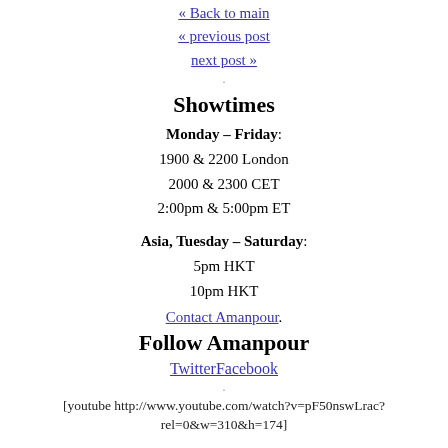« Back to main
« previous post
next post »
.
Showtimes
Monday – Friday:
1900 & 2200 London
2000 & 2300 CET
2:00pm & 5:00pm ET
Asia, Tuesday – Saturday:
5pm HKT
10pm HKT
Contact Amanpour.
Follow Amanpour
TwitterFacebook
.
[youtube http://www.youtube.com/watch?v=pF50nswLrac?rel=0&w=310&h=174]